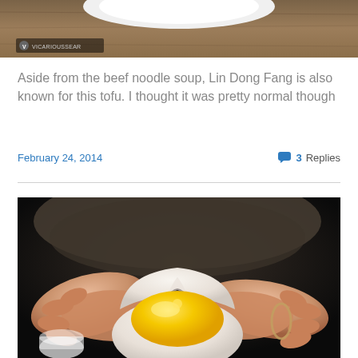[Figure (photo): Top portion of a food photo showing a wooden table surface with a plate, partially cropped. Watermark badge with 'VICARIOUSSEAR' text in bottom-left corner.]
Aside from the beef noodle soup, Lin Dong Fang is also known for this tofu. I thought it was pretty normal though
February 24, 2014    💬 3 Replies
[Figure (photo): Close-up photo of hands holding a split open steamed custard bun (liu sha bao) revealing a golden molten salted egg yolk filling, taken in a dim restaurant setting.]